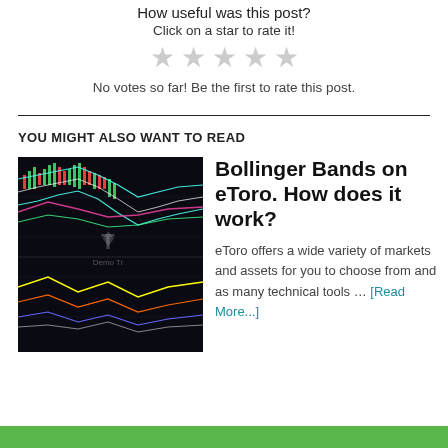How useful was this post?
Click on a star to rate it!
[Figure (illustration): Five grey star rating icons in a row]
No votes so far! Be the first to rate this post.
YOU MIGHT ALSO WANT TO READ
[Figure (screenshot): Dark trading chart screenshot with colorful lines and eToro logo watermark, Demo Tr text visible]
Bollinger Bands on eToro. How does it work?
eToro offers a wide variety of markets and assets for you to choose from and as many technical tools … [Read More...]